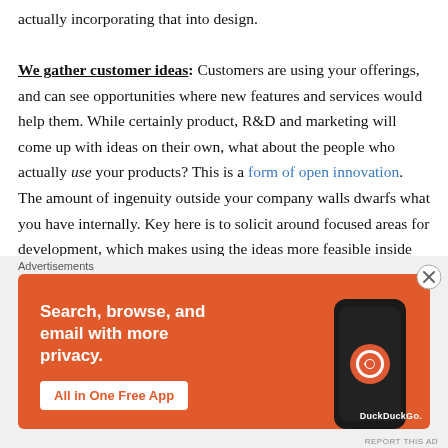actually incorporating that into design. We gather customer ideas: Customers are using your offerings, and can see opportunities where new features and services would help them. While certainly product, R&D and marketing will come up with ideas on their own, what about the people who actually use your products? This is a form of open innovation. The amount of ingenuity outside your company walls dwarfs what you have internally. Key here is to solicit around focused areas for development, which makes using the ideas more feasible inside companies. Wide open idea sites can be harder for companies to act on than the whole fit proposition
[Figure (other): DuckDuckGo advertisement banner: orange background with text 'Search, browse, and email with more privacy. All in One Free App' and an image of a smartphone with DuckDuckGo logo]